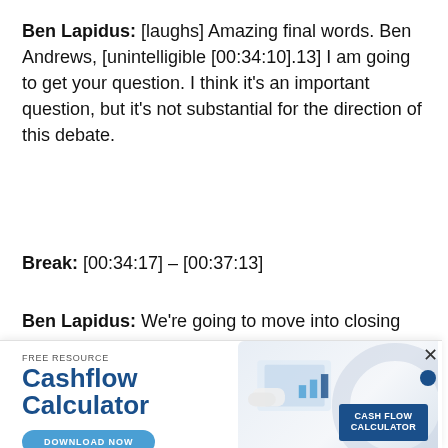Ben Lapidus: [laughs] Amazing final words. Ben Andrews, [unintelligible [00:34:10].13] I am going to get your question. I think it's an important question, but it's not substantial for the direction of this debate.
Break: [00:34:17] – [00:37:13]
Ben Lapidus: We're going to move into closing
[Figure (infographic): Advertisement overlay for a Cashflow Calculator free resource. Shows 'FREE RESOURCE' label, 'Cashflow Calculator' title in bold blue, a 'DOWNLOAD NOW' button, an image of hands holding a tablet with financial charts, and a 'CASH FLOW CALCULATOR' badge. Close button (X) and blue dot in top right corner.]